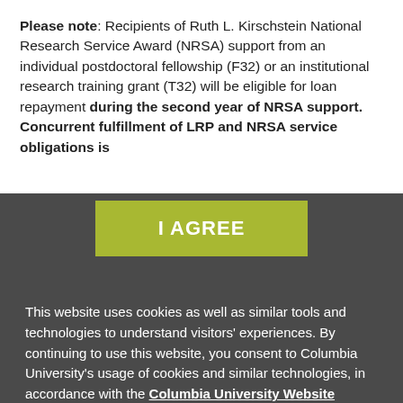Please note: Recipients of Ruth L. Kirschstein National Research Service Award (NRSA) support from an individual postdoctoral fellowship (F32) or an institutional research training grant (T32) will be eligible for loan repayment during the second year of NRSA support. Concurrent fulfillment of LRP and NRSA service obligations is
[Figure (other): Olive/yellow-green 'I AGREE' button on dark gray background]
This website uses cookies as well as similar tools and technologies to understand visitors' experiences. By continuing to use this website, you consent to Columbia University's usage of cookies and similar technologies, in accordance with the Columbia University Website Cookie Notice.